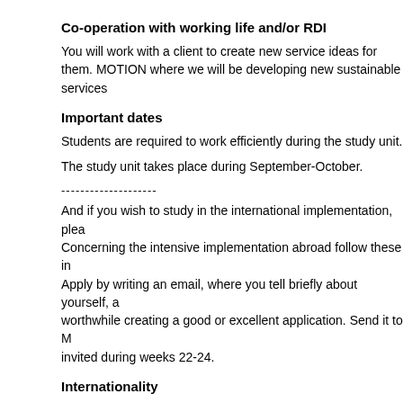Co-operation with working life and/or RDI
You will work with a client to create new service ideas for them. MOTION where we will be developing new sustainable services
Important dates
Students are required to work efficiently during the study unit.
The study unit takes place during September-October.
--------------------
And if you wish to study in the international implementation, plea Concerning the intensive implementation abroad follow these in Apply by writing an email, where you tell briefly about yourself, a worthwhile creating a good or excellent application. Send it to M invited during weeks 22-24.
Internationality
International environment
International guest lecturers
www.tourismotion.eu